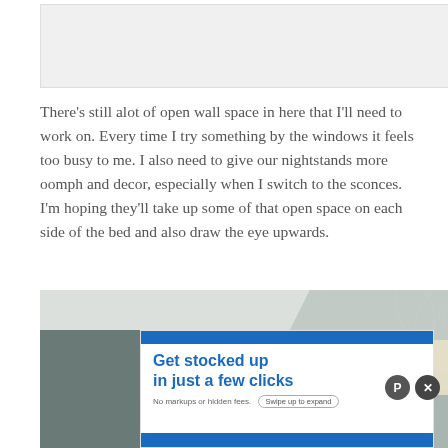[Figure (photo): Top portion of a bedroom/room photo, mostly white/gray tones, cropped]
There’s still alot of open wall space in here that I’ll need to work on.  Every time I try something by the windows it feels too busy to me.  I also need to give our nightstands more oomph and decor, especially when I switch to the sconces.  I’m hoping they’ll take up some of that open space on each side of the bed and also draw the eye upwards.
[Figure (photo): Bedroom photo showing a ceiling with tray/angled trim, light gray-green walls, with a 'back to top' overlay banner in the upper right corner]
[Figure (infographic): Advertisement banner reading 'Get stocked up in just a few clicks. No markups or hidden fees.' with a 'Swipe up to expand' button, blue top and bottom borders]